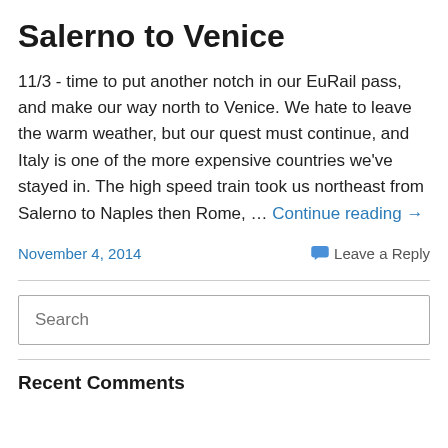Salerno to Venice
11/3 - time to put another notch in our EuRail pass, and make our way north to Venice. We hate to leave the warm weather, but our quest must continue, and Italy is one of the more expensive countries we've stayed in. The high speed train took us northeast from Salerno to Naples then Rome, … Continue reading →
November 4, 2014
Leave a Reply
Search
Recent Comments